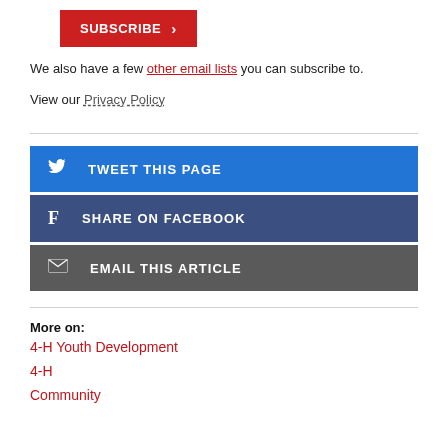[Figure (other): Red SUBSCRIBE button with right arrow]
We also have a few other email lists you can subscribe to.
View our Privacy Policy
[Figure (other): Blue TWEET THIS PAGE button with Twitter bird icon]
[Figure (other): Dark blue SHARE ON FACEBOOK button with Facebook f icon]
[Figure (other): Gray EMAIL THIS ARTICLE button with envelope icon]
More on:
4-H Youth Development
4-H
Community